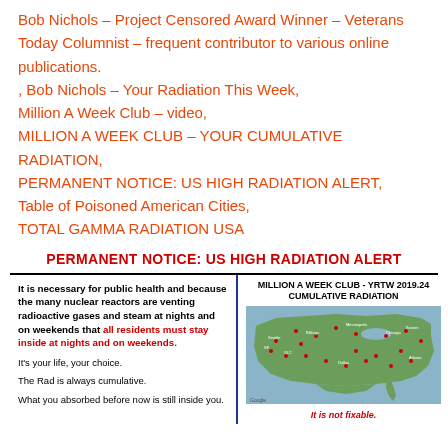Bob Nichols – Project Censored Award Winner – Veterans Today Columnist – frequent contributor to various online publications.
, Bob Nichols – Your Radiation This Week,
Million A Week Club – video,
MILLION A WEEK CLUB – YOUR CUMULATIVE RADIATION,
PERMANENT NOTICE: US HIGH RADIATION ALERT,
Table of Poisoned American Cities,
TOTAL GAMMA RADIATION USA
PERMANENT NOTICE: US HIGH RADIATION ALERT
It is necessary for public health and because the many nuclear reactors are venting radioactive gases and steam at nights and on weekends that all residents must stay inside at nights and on weekends.

It's your life, your choice.

The Rad is always cumulative.

What you absorbed before now is still inside you.
[Figure (map): MILLION A WEEK CLUB - YRTW 2019.24 CUMULATIVE RADIATION map of the United States showing radiation monitoring data points across the country with red markers and labels.]
It is not fixable.